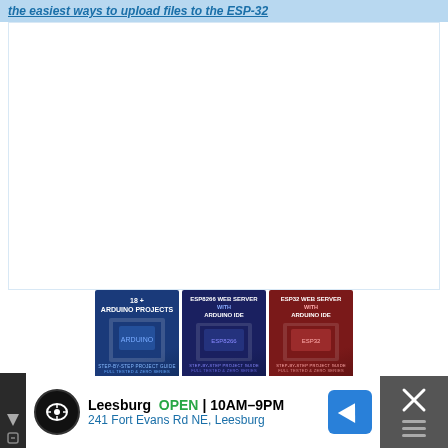the easiest ways to upload files to the ESP-32
[Figure (illustration): Three book covers displayed: '18+ Arduino Projects', 'ESP8266 Web Server with Arduino IDE', 'ESP32 Web Server with Arduino IDE', plus two smaller items below: 'Ultimate Guide for Arduino Sensor Modules' and 'Arduino Mini Course' banner]
[Figure (screenshot): Advertisement bar: Leesburg store, OPEN 10AM-9PM, 241 Fort Evans Rd NE Leesburg, with navigation button and close button]